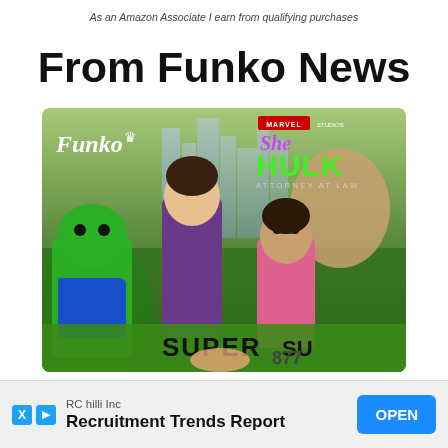As an Amazon Associate I earn from qualifying purchases
From Funko News
[Figure (photo): Promotional image for Funko Pop figures from Marvel Studios' She-Hulk: Attorney at Law, showing multiple Funko Pop figures including She-Hulk and other characters against a city background with the Funko and She-Hulk logos visible]
RC hilli Inc
Recruitment Trends Report
OPEN